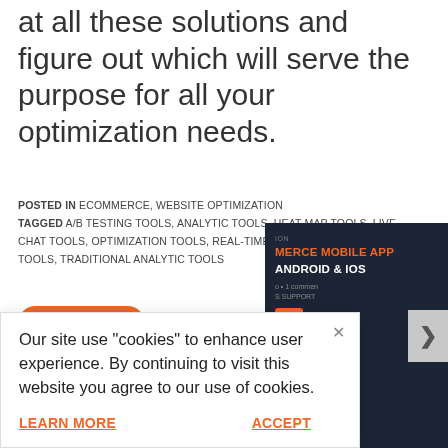at all these solutions and figure out which will serve the purpose for all your optimization needs.
POSTED IN ECOMMERCE, WEBSITE OPTIMIZATION TAGGED A/B TESTING TOOLS, ANALYTIC TOOLS, HEAT MAP TOOLS, LIVE CHAT TOOLS, OPTIMIZATION TOOLS, REAL-TIME TOOLS, SURVEY TOOLS, TRADITIONAL ANALYTIC TOOLS
< TOP TEN C...
HOW TO
[Figure (screenshot): Cookie consent banner with Learn More and Accept links, and a dark promo card showing ecommerce mobile app for Android & iOS with a next arrow button]
Our site use "cookies" to enhance user experience. By continuing to visit this website you agree to our use of cookies.
LEARN MORE
ACCEPT